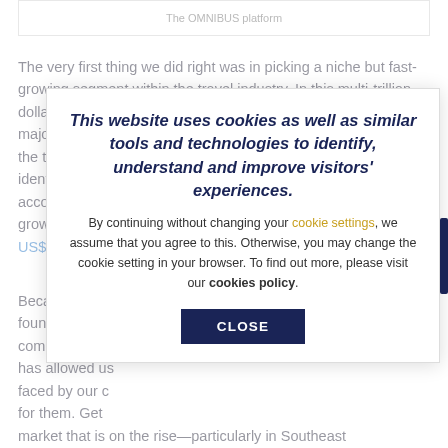The OMNIBUS platform
The very first thing we did right was in picking a niche but fast-growing segment within the travel industry. In this multi-trillion dollar industry, flight and accommodation accounts for the majority portion with activities and experiences — the travel activities segment — has been identified and accounts for less than 10% growing the fastest with US$135 billion
Because it is a fast-growing segment, we also found that competition is relatively low — competitors in this space are still nascent. This has allowed us to get a deep look at the pain faced by our customers and build solutions for them. Get your share of this growing market that is on the rise—particularly in Southeast
[Figure (screenshot): Cookie consent modal overlay with dark blue bold italic headline 'This website uses cookies as well as similar tools and technologies to identify, understand and improve visitors' experiences.' followed by body text about cookie settings, a golden link 'cookie settings', bold 'cookies policy' link, and a dark navy CLOSE button.]